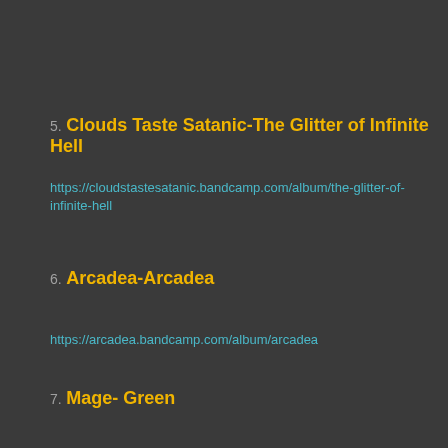5. Clouds Taste Satanic-The Glitter of Infinite Hell
https://cloudstastesatanic.bandcamp.com/album/the-glitter-of-infinite-hell
6. Arcadea-Arcadea
https://arcadea.bandcamp.com/album/arcadea
7. Mage- Green
https://mage.bandcamp.com/album/green